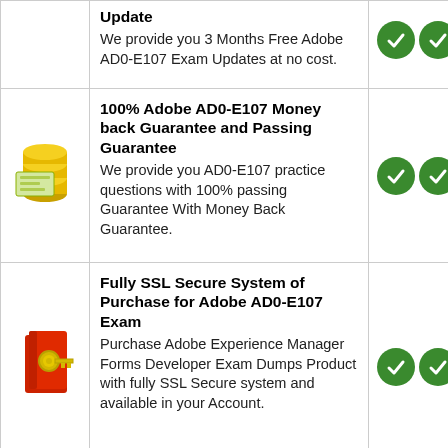Update
We provide you 3 Months Free Adobe AD0-E107 Exam Updates at no cost.
100% Adobe AD0-E107 Money back Guarantee and Passing Guarantee
We provide you AD0-E107 practice questions with 100% passing Guarantee With Money Back Guarantee.
Fully SSL Secure System of Purchase for Adobe AD0-E107 Exam
Purchase Adobe Experience Manager Forms Developer Exam Dumps Product with fully SSL Secure system and available in your Account.
We Respect Privacy Policy
We respect full Privacy of our customers and would not share information with any third party.